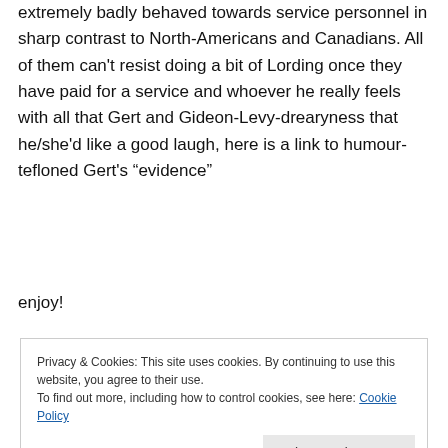extremely badly behaved towards service personnel in sharp contrast to North-Americans and Canadians. All of them can't resist doing a bit of Lording once they have paid for a service and whoever he really feels with all that Gert and Gideon-Levy-drearyness that he/she'd like a good laugh, here is a link to humour-tefloned Gert's “evidence”
enjoy!
Privacy & Cookies: This site uses cookies. By continuing to use this website, you agree to their use. To find out more, including how to control cookies, see here: Cookie Policy